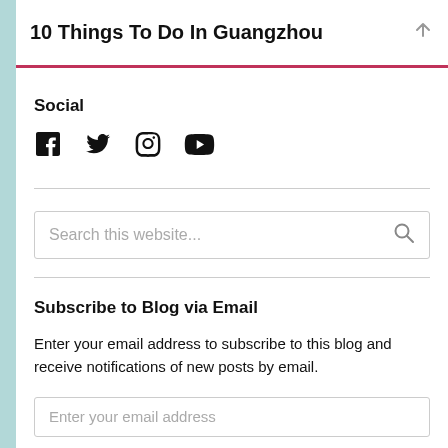10 Things To Do In Guangzhou
Social
[Figure (illustration): Social media icons: Facebook, Twitter, Instagram, YouTube]
Search this website...
Subscribe to Blog via Email
Enter your email address to subscribe to this blog and receive notifications of new posts by email.
Enter your email address